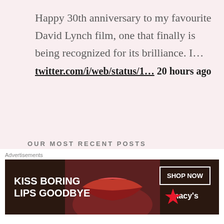Happy 30th anniversary to my favourite David Lynch film, one that finally is being recognized for its brilliance. I... twitter.com/i/web/status/1... 20 hours ago
OUR MOST RECENT POSTS
The Week in Horror: 'Something in the Dirt', 'I Saw the TV Glow', 'Hellraiser', + more! August
[Figure (screenshot): Macy's advertisement banner: 'KISS BORING LIPS GOODBYE' with SHOP NOW button and Macy's star logo]